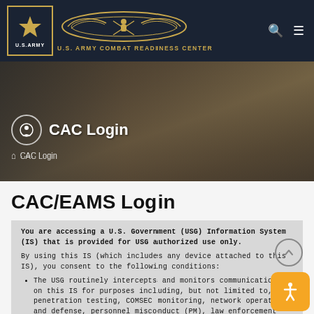U.S. Army Combat Readiness Center
CAC Login
CAC/EAMS Login
You are accessing a U.S. Government (USG) Information System (IS) that is provided for USG authorized use only.
By using this IS (which includes any device attached to this IS), you consent to the following conditions:
The USG routinely intercepts and monitors communications on this IS for purposes including, but not limited to, penetration testing, COMSEC monitoring, network operations and defense, personnel misconduct (PM), law enforcement (LE), and counterintelligence (CI) investigations.
At any time, the USG may inspect and seize data stored on this IS.